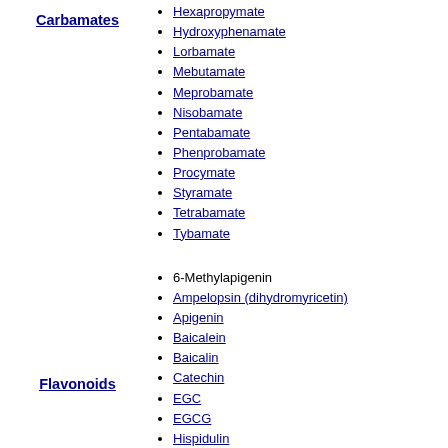Carbamates
Hexapropymate
Hydroxyphenamate
Lorbamate
Mebutamate
Meprobamate
Nisobamate
Pentabamate
Phenprobamate
Procymate
Styramate
Tetrabamate
Tybamate
Flavonoids
6-Methylapigenin
Ampelopsin (dihydromyricetin)
Apigenin
Baicalein
Baicalin
Catechin
EGC
EGCG
Hispidulin
Linarin
Luteolin
Rc-OMe